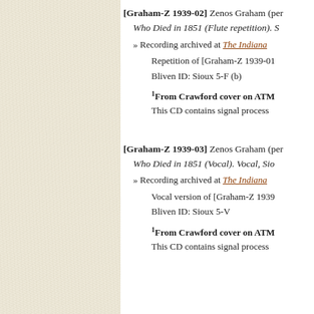[Graham-Z 1939-02] Zenos Graham (per... Who Died in 1851 (Flute repetition). S...
» Recording archived at The Indiana ...
Repetition of [Graham-Z 1939-01... Bliven ID: Sioux 5-F (b)
¹From Crawford cover on ATM... This CD contains signal process...
[Graham-Z 1939-03] Zenos Graham (per... Who Died in 1851 (Vocal). Vocal, Sio...
» Recording archived at The Indiana ...
Vocal version of [Graham-Z 1939... Bliven ID: Sioux 5-V
¹From Crawford cover on ATM... This CD contains signal process...